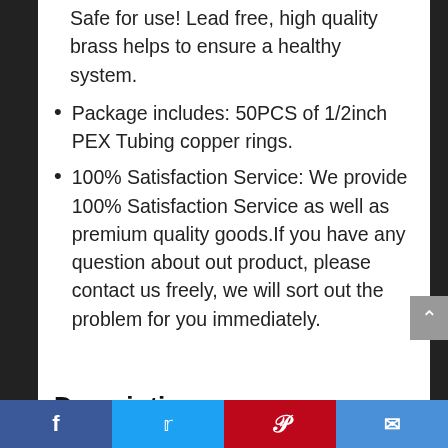Safe for use! Lead free, high quality brass helps to ensure a healthy system.
Package includes: 50PCS of 1/2inch PEX Tubing copper rings.
100% Satisfaction Service: We provide 100% Satisfaction Service as well as premium quality goods.If you have any question about out product, please contact us freely, we will sort out the problem for you immediately.
Description